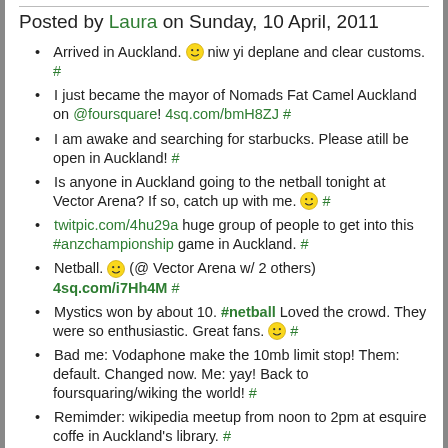Posted by Laura on Sunday, 10 April, 2011
Arrived in Auckland. 😊 niw yi deplane and clear customs. #
I just became the mayor of Nomads Fat Camel Auckland on @foursquare! 4sq.com/bmH8ZJ #
I am awake and searching for starbucks. Please atill be open in Auckland! #
Is anyone in Auckland going to the netball tonight at Vector Arena? If so, catch up with me. 😊 #
twitpic.com/4hu29a huge group of people to get into this #anzchampionship game in Auckland. #
Netball. 😊 (@ Vector Arena w/ 2 others) 4sq.com/i7Hh4M #
Mystics won by about 10. #netball Loved the crowd. They were so enthusiastic. Great fans. 😊 #
Bad me: Vodaphone make the 10mb limit stop! Them: default. Changed now. Me: yay! Back to foursquaring/wiking the world! #
Remimder: wikipedia meetup from noon to 2pm at esquire coffe in Auckland's library. #
I just ousted @corynathan as the mayor of Auckland City Public Library on @foursquare! 4sq.com/c791cl #